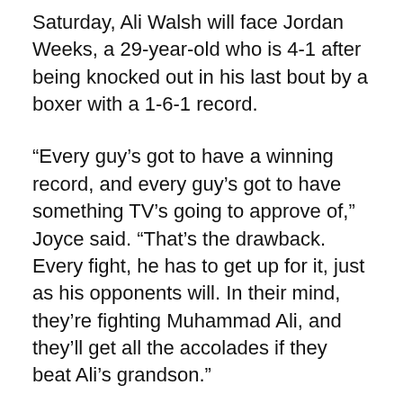Saturday, Ali Walsh will face Jordan Weeks, a 29-year-old who is 4-1 after being knocked out in his last bout by a boxer with a 1-6-1 record.
“Every guy’s got to have a winning record, and every guy’s got to have something TV’s going to approve of,” Joyce said. “That’s the drawback. Every fight, he has to get up for it, just as his opponents will. In their mind, they’re fighting Muhammad Ali, and they’ll get all the accolades if they beat Ali’s grandson.”
Where Ali Walsh’s career heads isn’t clear, even to him and his handlers. Arum praises Ali Walsh’s work ethic, and commitment, but recognizes the long odds against winning a